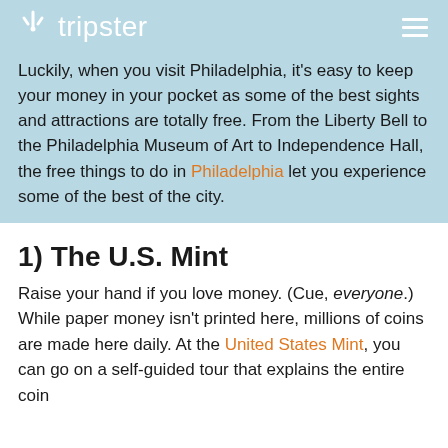tripster
Luckily, when you visit Philadelphia, it's easy to keep your money in your pocket as some of the best sights and attractions are totally free. From the Liberty Bell to the Philadelphia Museum of Art to Independence Hall, the free things to do in Philadelphia let you experience some of the best of the city.
1) The U.S. Mint
Raise your hand if you love money. (Cue, everyone.) While paper money isn't printed here, millions of coins are made here daily. At the United States Mint, you can go on a self-guided tour that explains the entire coin